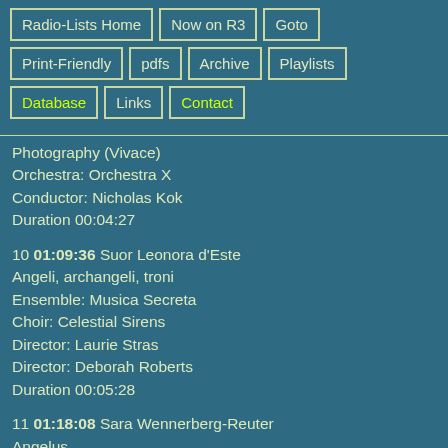Radio-Lists Home
Now on R3
Goto
Print-Friendly
pdfs
Archive
Playlists
Database
Links
Contact
Photography (Vivace)
Orchestra: Orchestra X
Conductor: Nicholas Kok
Duration 00:04:27
10 01:09:36 Suor Leonora d'Este
Angeli, archangeli, troni
Ensemble: Musica Secreta
Choir: Celestial Sirens
Director: Laurie Stras
Director: Deborah Roberts
Duration 00:05:28
11 01:18:08 Sara Wennerberg-Reuter
Angelus
Performer: Bengt Forsberg